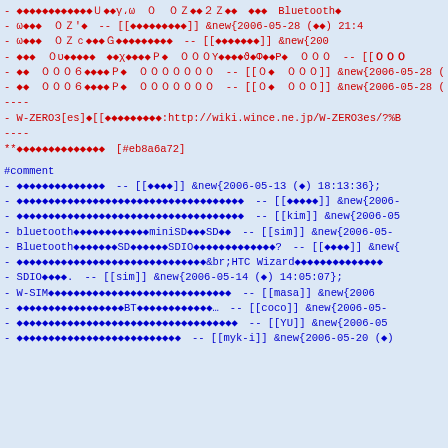- ◆◆◆◆◆◆◆◆◆◆◆◆Ｕ◆◆γ،ω　０　０Ｚ◆◆２Ｚ◆◆　◆◆◆　Bluetooth◆
- ω◆◆◆　０Ｚ'◆　-- [[◆◆◆◆◆◆◆◆◆]] &new{2006-05-28 (◆◆) 21:4
- ω◆◆◆　０Ｚｃ◆◆◆Ｇ◆◆◆◆◆◆◆◆◆　-- [[◆◆◆◆◆◆◆]] &new{200
- ◆◆◆　０υ◆◆◆◆◆　◆◆χ◆◆◆◆Ｐ◆　０００Υ◆◆◆◆ϑ◆Φ◆◆Ρ◆　０００　-- [[０００
- ◆◆　０００６◆◆◆◆Ｐ◆　０００００００　-- [[０◆　０００]] &new{2006-05-28 (◆◆)
- ◆◆　０００６◆◆◆◆Ｐ◆　０００００００　-- [[０◆　０００]] &new{2006-05-28 (◆◆)
----
- W-ZERO3[es]◆[[◆◆◆◆◆◆◆◆◆:http://wiki.wince.ne.jp/W-ZERO3es/?%B
----
**◆◆◆◆◆◆◆◆◆◆◆◆◆◆　[#eb8a6a72]
#comment
- ◆◆◆◆◆◆◆◆◆◆◆◆◆◆　-- [[◆◆◆◆]] &new{2006-05-13 (◆) 18:13:36};
- ◆◆◆◆◆◆◆◆◆◆◆◆◆◆◆◆◆◆◆◆◆◆◆◆◆◆◆◆◆◆◆◆◆◆◆◆　-- [[◆◆◆◆◆]] &new{2006-
- ◆◆◆◆◆◆◆◆◆◆◆◆◆◆◆◆◆◆◆◆◆◆◆◆◆◆◆◆◆◆◆◆◆◆◆◆　-- [[kim]] &new{2006-05
- bluetooth◆◆◆◆◆◆◆◆◆◆◆◆miniSD◆◆◆SD◆◆　-- [[sim]] &new{2006-05-
- Bluetooth◆◆◆◆◆◆◆SD◆◆◆◆◆◆SDIO◆◆◆◆◆◆◆◆◆◆◆◆◆?　-- [[◆◆◆◆]] &new{
- ◆◆◆◆◆◆◆◆◆◆◆◆◆◆◆◆◆◆◆◆◆◆◆◆◆◆◆◆◆◆&br;HTC Wizard◆◆◆◆◆◆◆◆◆◆◆◆◆◆
- SDIO◆◆◆◆.　-- [[sim]] &new{2006-05-14 (◆) 14:05:07};
- W-SIM◆◆◆◆◆◆◆◆◆◆◆◆◆◆◆◆◆◆◆◆◆◆◆◆◆◆◆◆◆　-- [[masa]] &new{2006
- ◆◆◆◆◆◆◆◆◆◆◆◆◆◆◆◆◆BT◆◆◆◆◆◆◆◆◆◆◆◆…　-- [[coco]] &new{2006-05-
- ◆◆◆◆◆◆◆◆◆◆◆◆◆◆◆◆◆◆◆◆◆◆◆◆◆◆◆◆◆◆◆◆◆◆◆　-- [[YU]] &new{2006-05
- ◆◆◆◆◆◆◆◆◆◆◆◆◆◆◆◆◆◆◆◆◆◆◆◆◆◆　-- [[myk-i]] &new{2006-05-20 (◆)